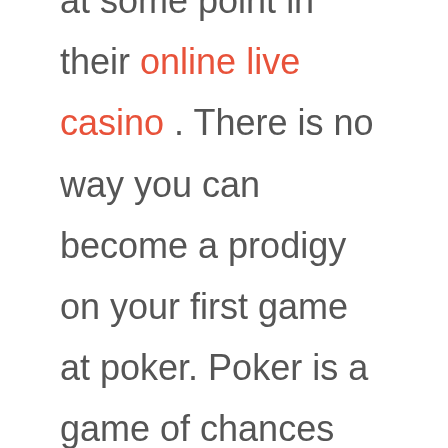at some point in their online live casino . There is no way you can become a prodigy on your first game at poker. Poker is a game of chances after all, and you can make more mistakes than you can imagine. Especially when you play at live tournaments, being a novice makes you a